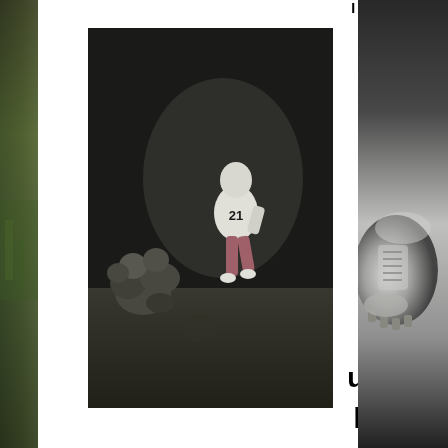I remember you...
[Figure (photo): Partial left-edge photo showing outdoor grassy/nature scene in dark tones, cut off at right]
[Figure (photo): Black and white football action photo showing a player wearing jersey number 21 running with the ball at night game]
Out front, unstoppable.
[Figure (photo): Partial right-edge photo showing a close-up of a football cleat/shoe in black and white, cut off at left]